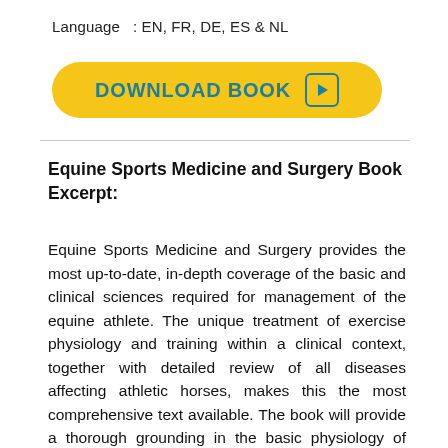Language  : EN, FR, DE, ES & NL
[Figure (other): Yellow rounded-rectangle download button with bold teal text 'DOWNLOAD BOOK' and a teal play-button icon on the right]
Equine Sports Medicine and Surgery Book Excerpt:
Equine Sports Medicine and Surgery provides the most up-to-date, in-depth coverage of the basic and clinical sciences required for management of the equine athlete. The unique treatment of exercise physiology and training within a clinical context, together with detailed review of all diseases affecting athletic horses, makes this the most comprehensive text available. The book will provide a thorough grounding in the basic physiology of each body system, and in particular the responses of each